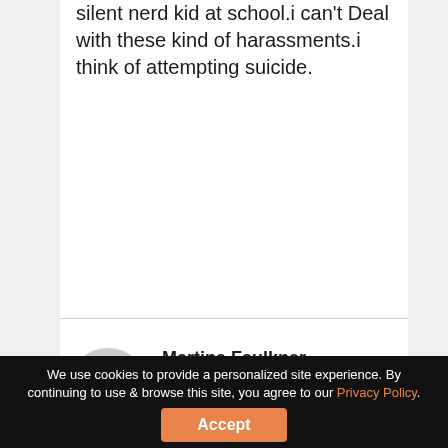silent nerd kid at school.i can't Deal with these kind of harassments.i think of attempting suicide.
Martina Faulkner
April 11th, 2021 ·
Reply
Firstly, if you are seriously thinking of harming
We use cookies to provide a personalized site experience. By continuing to use & browse this site, you agree to our Privacy Policy.